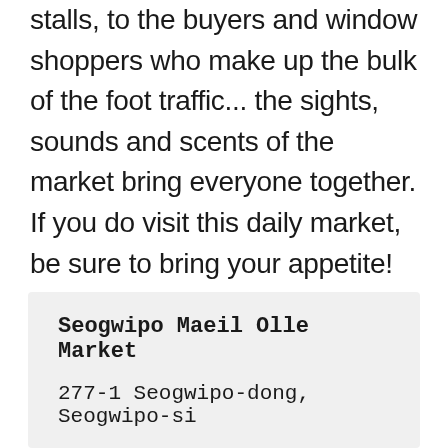stalls, to the buyers and window shoppers who make up the bulk of the foot traffic... the sights, sounds and scents of the market bring everyone together. If you do visit this daily market, be sure to bring your appetite! There's gimbap, tteokbokki, kimchi pancakes — all the traditional favorites. They're easy to take with you and enjoy along the water ... there are benches placed strategically outside the market for this.
| Seogwipo Maeil Olle Market |
| 277-1 Seogwipo-dong, Seogwipo-si |